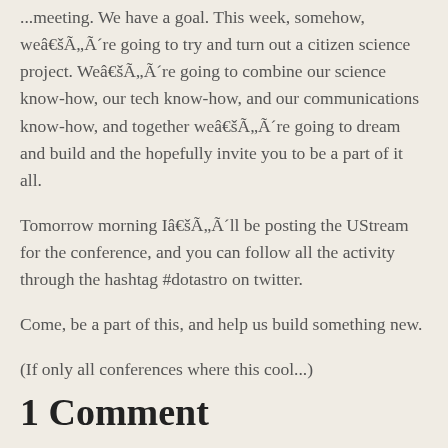...meeting. We have a goal. This week, somehow, weâ€šÃ„Ã´re going to try and turn out a citizen science project. Weâ€šÃ„Ã´re going to combine our science know-how, our tech know-how, and our communications know-how, and together weâ€šÃ„Ã´re going to dream and build and the hopefully invite you to be a part of it all.
Tomorrow morning Iâ€šÃ„Ã´ll be posting the UStream for the conference, and you can follow all the activity through the hashtag #dotastro on twitter.
Come, be a part of this, and help us build something new.
(If only all conferences where this cool...)
1 Comment